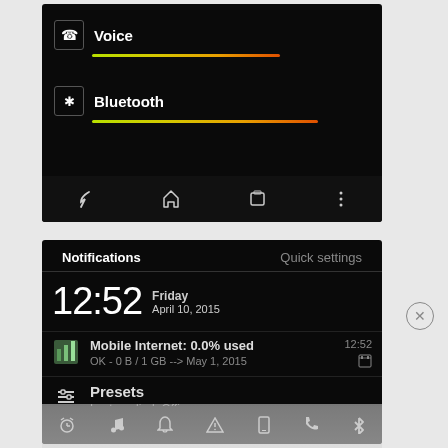[Figure (screenshot): Android volume settings screen showing Voice and Bluetooth volume sliders with colored gradient bars and navigation bar at bottom]
[Figure (screenshot): Android notification panel showing Notifications and Quick settings tabs, time 12:52 on Friday April 10 2015, Mobile Internet 0.0% used notification (OK - 0 B / 1 GB --> May 1 2015, time 12:52), Presets notification (Last applied: Office), and quick settings icons bar at bottom]